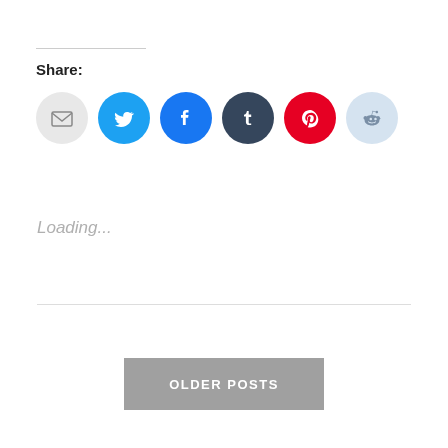Share:
[Figure (infographic): Row of six circular social media share buttons: email (light grey), Twitter (blue), Facebook (blue), Tumblr (dark navy), Pinterest (red), Reddit (light blue)]
Loading...
OLDER POSTS